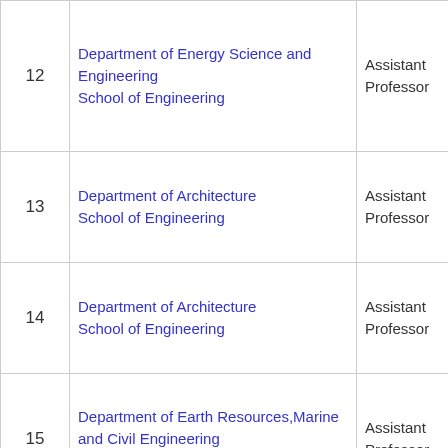| # | Department / School | Position |
| --- | --- | --- |
| 12 | Department of Energy Science and Engineering
School of Engineering | Assistant Professor |
| 13 | Department of Architecture
School of Engineering | Assistant Professor |
| 14 | Department of Architecture
School of Engineering | Assistant Professor |
| 15 | Department of Earth Resources,Marine and Civil Engineering
School of Engineering | Assistant Professor |
| 16 | Department of Energy Science and Engineering
School of Engineering | Assistant Professor |
| 17 | Department of Earth Resources,Marine and Civil Engineering
School of Engineering | Assistant Professor |
|  | Department of Mechanical and ... | Assistant ... |